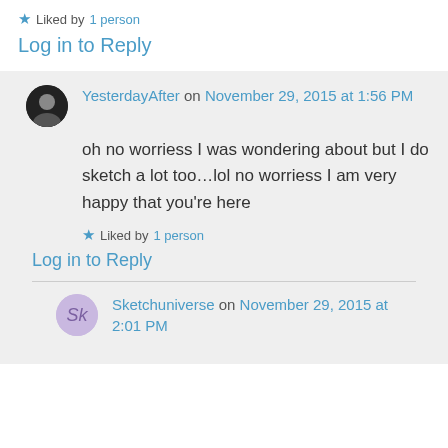★ Liked by 1 person
Log in to Reply
YesterdayAfter on November 29, 2015 at 1:56 PM
oh no worriess I was wondering about but I do sketch a lot too…lol no worriess I am very happy that you're here
★ Liked by 1 person
Log in to Reply
Sketchuniverse on November 29, 2015 at 2:01 PM